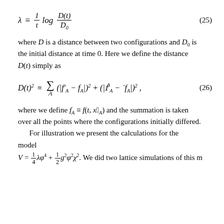where D is a distance between two configurations and D_0 is the initial distance at time 0. Here we define the distance D(t) simply as
where we define f_A \equiv f(t, \vec{x}_A) and the summation is taken over all the points where the configurations initially differed. For illustration we present the calculations for the model V = \frac{1}{4}\lambda\phi^4 + \frac{1}{2}g^2\phi^2\chi^2. We did two lattice simulations of this m